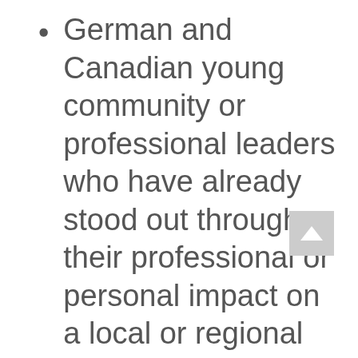German and Canadian young community or professional leaders who have already stood out through their professional or personal impact on a local or regional community (in Canada or Germany),
expected to be in the age range of 27-37